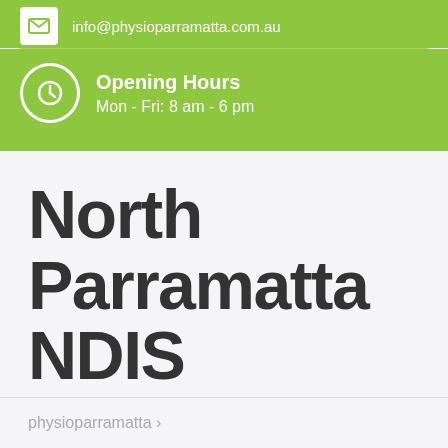info@physioparramatta.com.au
Opening Hours
Mon - Fri: 8 am - 6 pm
North Parramatta NDIS Physiotherapy
physioparramatta ›